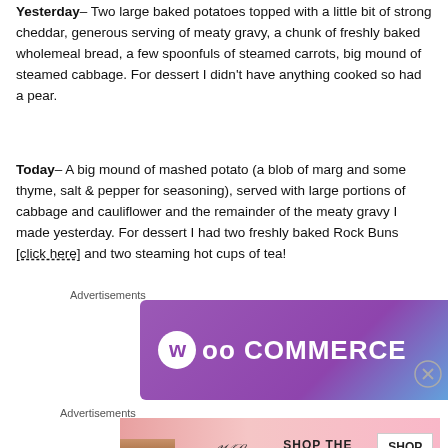Yesterday– Two large baked potatoes topped with a little bit of strong cheddar, generous serving of meaty gravy, a chunk of freshly baked wholemeal bread, a few spoonfuls of steamed carrots, big mound of steamed cabbage. For dessert I didn't have anything cooked so had a pear.
Today– A big mound of mashed potato (a blob of marg and some thyme, salt & pepper for seasoning), served with large portions of cabbage and cauliflower and the remainder of the meaty gravy I made yesterday. For dessert I had two freshly baked Rock Buns [click here] and two steaming hot cups of tea!
Advertisements
[Figure (other): WooCommerce advertisement banner with purple gradient background and white WooCommerce logo]
Advertisements
[Figure (other): Victoria's Secret advertisement banner with pink background, model photo, VS logo, and SHOP THE COLLECTION / SHOP NOW text]